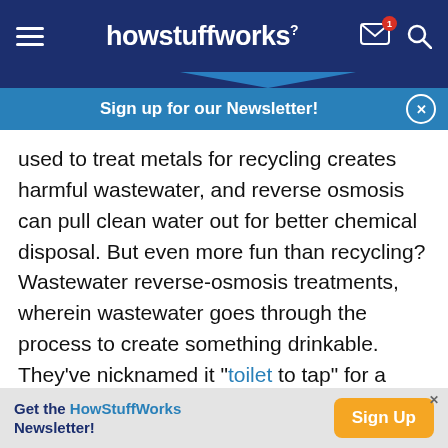howstuffworks
Sign up for our Newsletter!
used to treat metals for recycling creates harmful wastewater, and reverse osmosis can pull clean water out for better chemical disposal. But even more fun than recycling? Wastewater reverse-osmosis treatments, wherein wastewater goes through the process to create something drinkable. They've nicknamed it "toilet to tap" for a reason, and although it might give you pause, it's a promising ways for developing nations to produce drinkable water.
Get the HowStuffWorks Newsletter! Sign Up